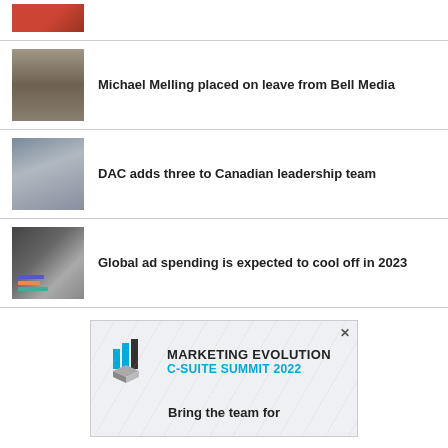[Figure (photo): Partial view of a thumbnail image at top, showing a red-toned photo (possibly hands or objects)]
Michael Melling placed on leave from Bell Media
[Figure (photo): Thumbnail of a building exterior, tall multi-story office or commercial building]
DAC adds three to Canadian leadership team
[Figure (photo): Thumbnail of a man in a suit, business professional portrait]
Global ad spending is expected to cool off in 2023
[Figure (photo): Thumbnail showing a person holding a chart or analytics document]
[Figure (screenshot): Advertisement for Marketing Evolution C-Suite Summit 2022 with logo and text 'Bring the team for']